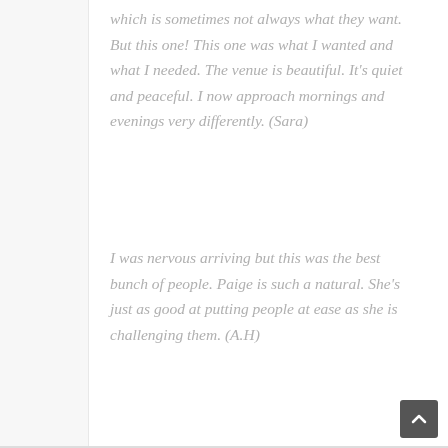which is sometimes not always what they want. But this one! This one was what I wanted and what I needed. The venue is beautiful. It's quiet and peaceful. I now approach mornings and evenings very differently. (Sara)
I was nervous arriving but this was the best bunch of people. Paige is such a natural. She's just as good at putting people at ease as she is challenging them. (A.H)